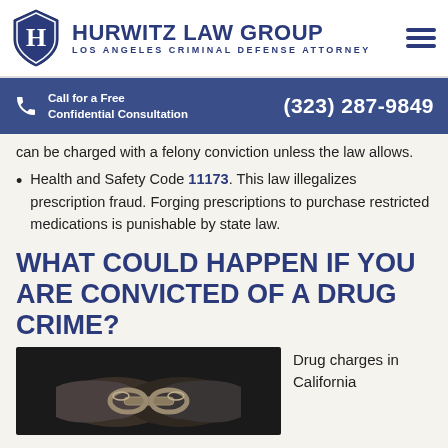[Figure (logo): Hurwitz Law Group logo with shield icon, firm name and tagline 'Los Angeles Criminal Defense Attorney', and hamburger menu icon]
Call for a Free Confidential Consultation  (323) 287-9849
can be charged with a felony conviction unless the law allows.
Health and Safety Code 11173. This law illegalizes prescription fraud. Forging prescriptions to purchase restricted medications is punishable by state law.
WHAT COULD HAPPEN IF YOU ARE CONVICTED OF A DRUG CRIME?
[Figure (photo): Person's hands in handcuffs behind their back, dark background]
Drug charges in California